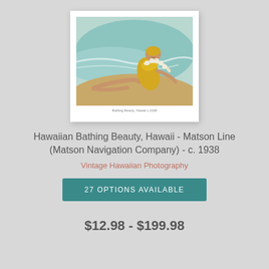[Figure (illustration): Vintage illustration/print of a woman in a yellow swimsuit and yellow swim cap, wearing a white lei, reclining on a beach with ocean waves in the background. White border with cream mat. Small caption text at bottom reads 'Bathing Beauty, Hawaii c.1938'.]
Hawaiian Bathing Beauty, Hawaii - Matson Line (Matson Navigation Company) - c. 1938
Vintage Hawaiian Photography
27 OPTIONS AVAILABLE
$12.98 - $199.98